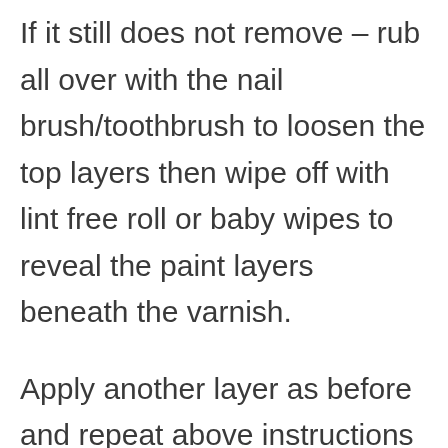If it still does not remove – rub all over with the nail brush/toothbrush to loosen the top layers then wipe off with lint free roll or baby wipes to reveal the paint layers beneath the varnish.
Apply another layer as before and repeat above instructions until all the layers are lifted. This can take some